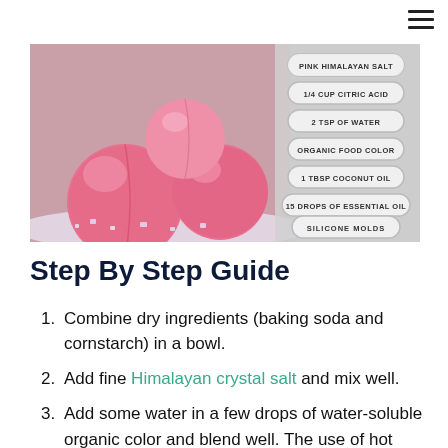[Figure (photo): Pink bath bombs sitting on pink Himalayan crystal salt with ingredient labels listed in rounded pill shapes on the right side: PINK HIMALAYAN SALT, 1/4 CUP CITRIC ACID, 2 TSP OF WATER, ORGANIC FOOD COLOR, 1 TBSP COCONUT OIL, 15 DROPS OF ESSENTIAL OIL, SILICONE MOLDS]
Step By Step Guide
Combine dry ingredients (baking soda and cornstarch) in a bowl.
Add fine Himalayan crystal salt and mix well.
Add some water in a few drops of water-soluble organic color and blend well. The use of hot water